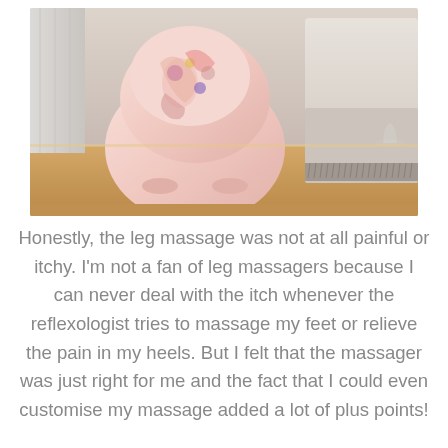[Figure (photo): A pink decorative leg massager device sitting on a wooden floor platform next to a beige sofa/chair in a room interior]
Honestly, the leg massage was not at all painful or itchy. I'm not a fan of leg massagers because I can never deal with the itch whenever the reflexologist tries to massage my feet or relieve the pain in my heels. But I felt that the massager was just right for me and the fact that I could even customise my massage added a lot of plus points!